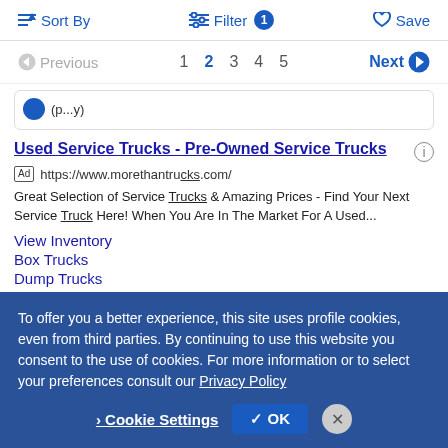Sort By  Filter 1  Save
Previous  1  2  3  4  5  Next
(partial card content)
Used Service Trucks - Pre-Owned Service Trucks
Ad  https://www.morethantrucks.com/
Great Selection of Service Trucks & Amazing Prices - Find Your Next Service Truck Here! When You Are In The Market For A Used...
View Inventory
Box Trucks
Dump Trucks
Step Vans
To offer you a better experience, this site uses profile cookies, even from third parties. By continuing to use this website you consent to the use of cookies. For more information or to select your preferences consult our Privacy Policy
Cookie Settings  ✓ OK  ×